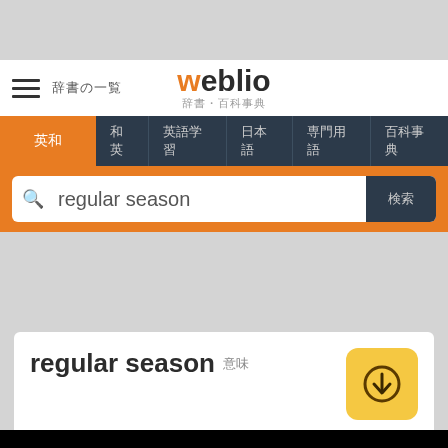weblio 辞書 — navigation bar with search for 'regular season'
regular season 意味
[Figure (screenshot): Weblio Japanese dictionary website screenshot showing search bar with 'regular season' query and result card]